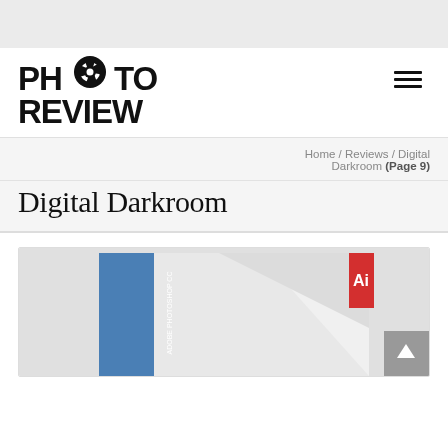[Figure (logo): Photo Review logo with camera lens icon replacing the O in PHOTO, bold black uppercase text reading PH[lens]TO / REVIEW]
Home / Reviews / Digital Darkroom (Page 9)
Digital Darkroom
[Figure (photo): Product box image of Adobe software (blue spine with text, white box with red Adobe logo), partially cropped at bottom of page]